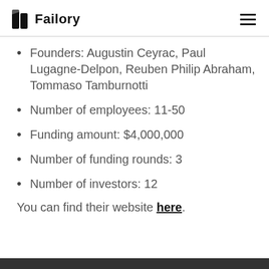Failory
Founders: Augustin Ceyrac, Paul Lugagne-Delpon, Reuben Philip Abraham, Tommaso Tamburnotti
Number of employees: 11-50
Funding amount: $4,000,000
Number of funding rounds: 3
Number of investors: 12
You can find their website here.